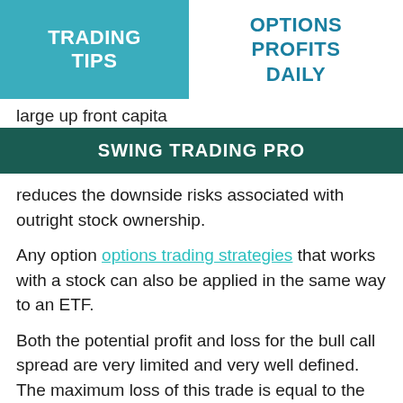TRADING TIPS
OPTIONS PROFITS DAILY
large up front capita
SWING TRADING PRO
reduces the downside risks associated with outright stock ownership.
Any option options trading strategies that works with a stock can also be applied in the same way to an ETF.
Both the potential profit and loss for the bull call spread are very limited and very well defined. The maximum loss of this trade is equal to the amount of the premium paid at the time the trade is